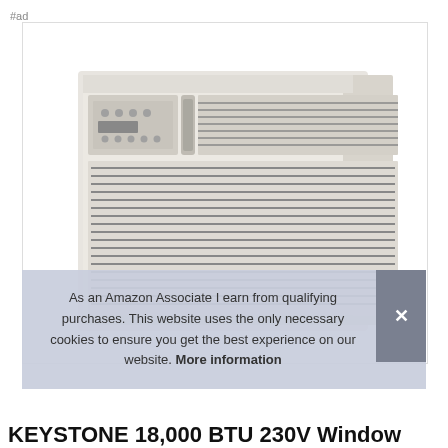#ad
[Figure (photo): White window air conditioning unit (KEYSTONE 18,000 BTU 220V) shown from front-left angle. The unit has horizontal louvers on the lower front, a control panel with buttons and display on upper left, and ventilation grilles on both sides.]
As an Amazon Associate I earn from qualifying purchases. This website uses the only necessary cookies to ensure you get the best experience on our website. More information
KEYSTONE 18,000 BTU 230V Window